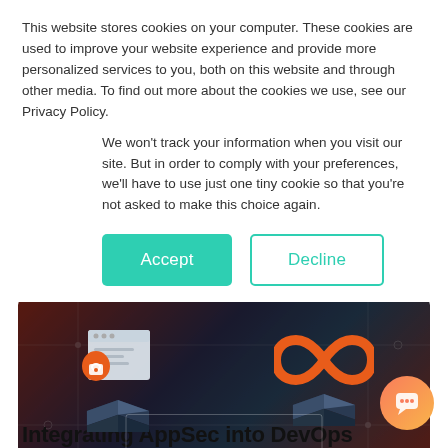This website stores cookies on your computer. These cookies are used to improve your website experience and provide more personalized services to you, both on this website and through other media. To find out more about the cookies we use, see our Privacy Policy.
We won't track your information when you visit our site. But in order to comply with your preferences, we'll have to use just one tiny cookie so that you're not asked to make this choice again.
Accept | Decline
[Figure (screenshot): Dark hero banner image showing a security/DevOps integration illustration with a padlock document icon on the left, an infinity symbol on the right, 3D box shapes below each icon, and a rectangular outline at the bottom center, all on a dark red-navy gradient background with circuit-board overlay patterns.]
[Figure (other): Orange gradient circular chat bubble button in the bottom-right corner.]
Integrating AppSec into DevOps